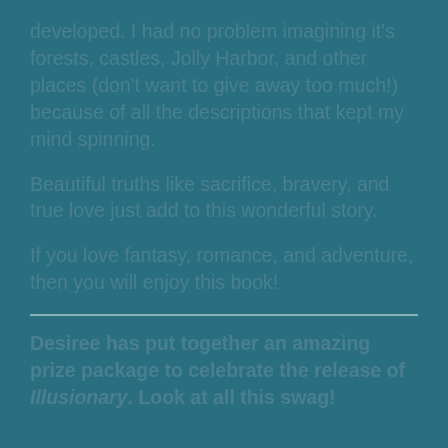developed. I had no problem imagining it's forests, castles, Jolly Harbor, and other places (don't want to give away too much!) because of all the descriptions that kept my mind spinning.
Beautiful truths like sacrifice, bravery, and true love just add to this wonderful story.
If you love fantasy, romance, and adventure, then you will enjoy this book!
Desiree has put together an amazing prize package to celebrate the release of Illusionary. Look at all this swag!